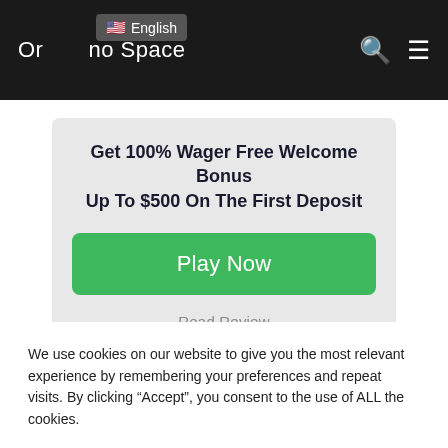Or [English flag] English no Space
Get 100% Wager Free Welcome Bonus Up To $500 On The First Deposit
Play Now
Read Review
We use cookies on our website to give you the most relevant experience by remembering your preferences and repeat visits. By clicking “Accept”, you consent to the use of ALL the cookies.
Cookie settings
ACCEPT